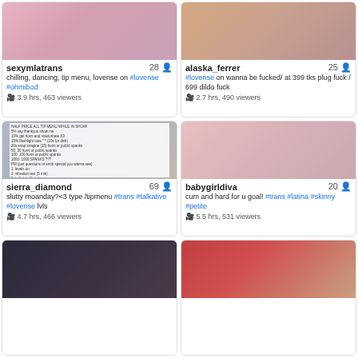[Figure (screenshot): Thumbnail for sexymlatrans stream]
sexymlatrans 28
chilling, dancing, tip menu, lovense on #lovense #ohmibod
3.9 hrs, 463 viewers
[Figure (screenshot): Thumbnail for alaska_ferrer stream]
alaska_ferrer 25
#lovense on wanna be fucked/ at 399 tks plug fuck / 699 dildo fuck
2.7 hrs, 490 viewers
[Figure (screenshot): Thumbnail for sierra_diamond stream]
sierra_diamond 69
slutty moanday?<3 type /tipmenu #trans #talkative #lovense lvls
4.7 hrs, 466 viewers
[Figure (screenshot): Thumbnail for babygirldiva stream]
babygirldiva 20
cum and hard for u goal! #trans #latina #skinny #petite
5.5 hrs, 531 viewers
[Figure (screenshot): Thumbnail for stream card 5]
[Figure (screenshot): Thumbnail for stream card 6]